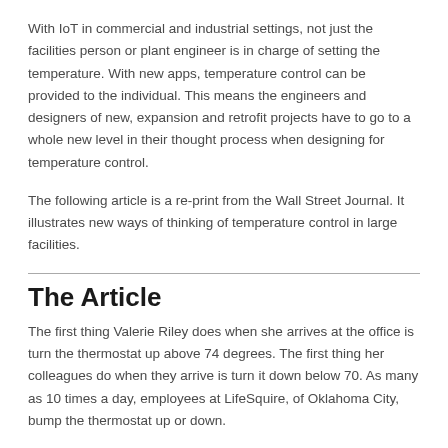With IoT in commercial and industrial settings, not just the facilities person or plant engineer is in charge of setting the temperature. With new apps, temperature control can be provided to the individual. This means the engineers and designers of new, expansion and retrofit projects have to go to a whole new level in their thought process when designing for temperature control.
The following article is a re-print from the Wall Street Journal. It illustrates new ways of thinking of temperature control in large facilities.
The Article
The first thing Valerie Riley does when she arrives at the office is turn the thermostat up above 74 degrees. The first thing her colleagues do when they arrive is turn it down below 70. As many as 10 times a day, employees at LifeSquire, of Oklahoma City, bump the thermostat up or down.